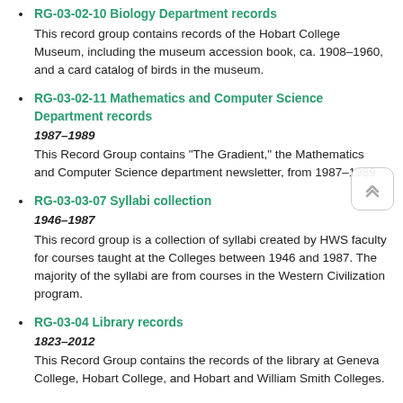RG-03-02-10 Biology Department records
This record group contains records of the Hobart College Museum, including the museum accession book, ca. 1908–1960, and a card catalog of birds in the museum.
RG-03-02-11 Mathematics and Computer Science Department records
1987–1989
This Record Group contains "The Gradient," the Mathematics and Computer Science department newsletter, from 1987–1989.
RG-03-03-07 Syllabi collection
1946–1987
This record group is a collection of syllabi created by HWS faculty for courses taught at the Colleges between 1946 and 1987. The majority of the syllabi are from courses in the Western Civilization program.
RG-03-04 Library records
1823–2012
This Record Group contains the records of the library at Geneva College, Hobart College, and Hobart and William Smith Colleges.